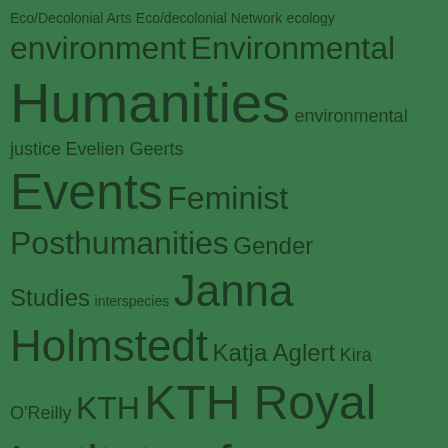[Figure (infographic): Tag cloud on a green background featuring academic and research-related keywords in varying font sizes indicating frequency/importance. Terms include: Eco/Decolonial Arts, Eco/decolonial Network, ecology, environment, Environmental Humanities, environmental justice, Evelien Geerts, Events, Feminist Posthumanities, Gender Studies, interspecies, Janna Holmstedt, Katja Aglert, Kira O'Reilly, KTH, KTH Royal Institute of Technology, Lauren LaFauci, life, Line Henriksen, Linköpings universitet, Linköping University, literature, Madina Tlostanova, Marietta Radomska, mini-symposium, New Materialisms, News, Nina Lykke, PhD course, philosophy, poetry, posthuman ethics, Posthumanities, project, Queer Death Studies, research, science, seminar, sound, speculative fiction, speculative storytelling, storytelling, Symposium, Talk, Tara Mehrabi, Technology]